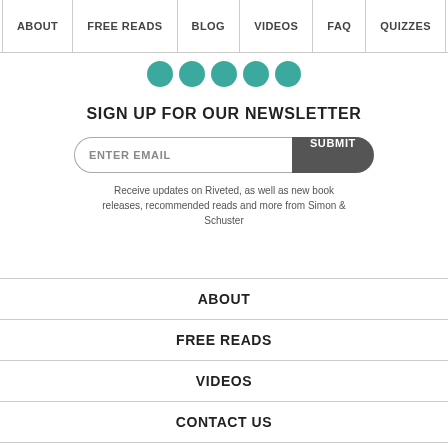ABOUT | FREE READS | BLOG | VIDEOS | FAQ | QUIZZES
[Figure (other): Five teal circular social media icon buttons in a row]
SIGN UP FOR OUR NEWSLETTER
ENTER EMAIL  SUBMIT
Receive updates on Riveted, as well as new book releases, recommended reads and more from Simon & Schuster
ABOUT
FREE READS
VIDEOS
CONTACT US